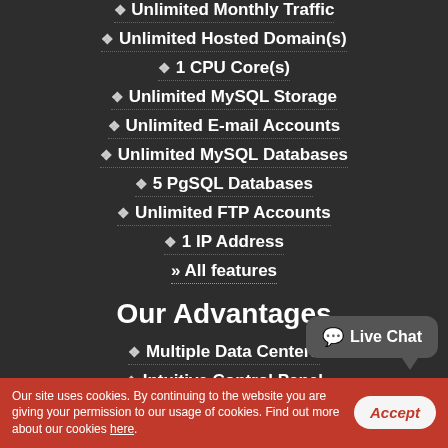Unlimited Monthly Traffic
Unlimited Hosted Domain(s)
1 CPU Core(s)
Unlimited MySQL Storage
Unlimited E-mail Accounts
Unlimited MySQL Databases
5 PgSQL Databases
Unlimited FTP Accounts
1 IP Address
» All features
Our Advantages
Multiple Data Centers
Intuitive Control Panel
SSDs w/ Data Caching
ZFS Cloud Storage & Mail
Our site uses cookies. By continuing to the website you are giving your permission to our usage of cookies. Find out more about our cookies here.